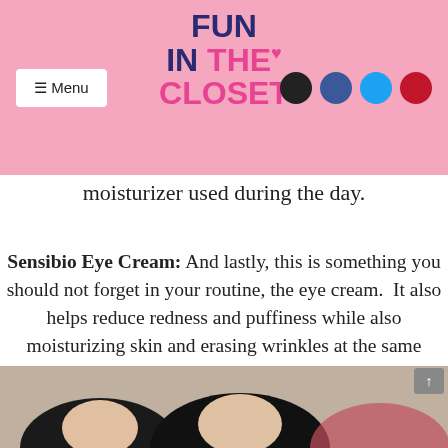Fun In The Closet - Menu
moisturizer used during the day.
Sensibio Eye Cream: And lastly, this is something you should not forget in your routine, the eye cream.  It also helps reduce redness and puffiness while also moisturizing skin and erasing wrinkles at the same time! This product is also safe for those who wear contacts. It is also fragrance-free, which I always look for any skincare product.
[Figure (photo): Photo of a person at the bottom of the page, partially visible]